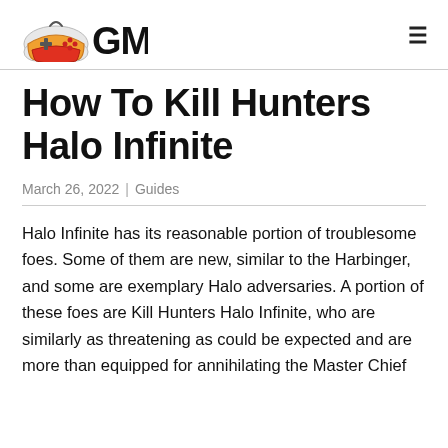GM
How To Kill Hunters Halo Infinite
March 26, 2022 |  Guides
Halo Infinite has its reasonable portion of troublesome foes. Some of them are new, similar to the Harbinger, and some are exemplary Halo adversaries. A portion of these foes are Kill Hunters Halo Infinite, who are similarly as threatening as could be expected and are more than equipped for annihilating the Master Chief